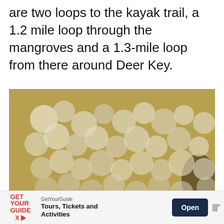are two loops to the kayak trail, a 1.2 mile loop through the mangroves and a 1.3-mile loop from there around Deer Key.
[Figure (photo): Close-up aerial or macro photograph of mangrove vegetation, showing dense clusters of rounded green and white foliage with golden/brown areas, viewed from above. UI overlay buttons visible: teal heart/save button and grey share/scroll-up buttons.]
GetYourGuide Tours, Tickets and Activities Open